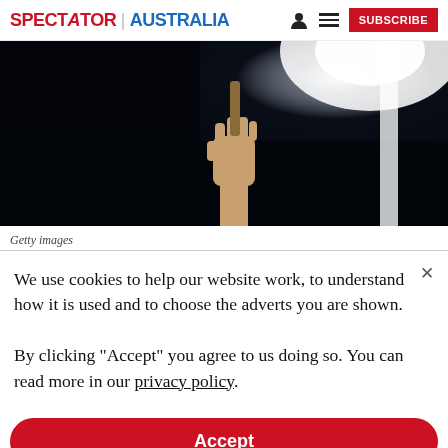SPECTATOR | AUSTRALIA  [user icon] [menu icon] SUBSCRIBE
[Figure (photo): A hand raised holding a stick or torch against a dark background with bright light source in upper right]
Getty images
We use cookies to help our website work, to understand how it is used and to choose the adverts you are shown.

By clicking "Accept" you agree to us doing so. You can read more in our privacy policy.
Accept